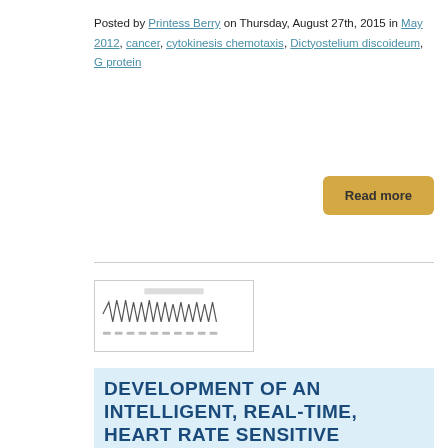Posted by Printess Berry on Thursday, August 27th, 2015 in May 2012, cancer, cytokinesis chemotaxis, Dictyostelium discoideum, G protein
Read more
[Figure (other): Thumbnail image of a scientific figure showing waveform/electrophysiology data with a title header.]
DEVELOPMENT OF AN INTELLIGENT, REAL-TIME, HEART RATE SENSITIVE VIRTUAL REALITY SYSTEM
A real-time analysis of the anxiety level of a subject was predicted by a virtual reality system based on the subject's heart rate.